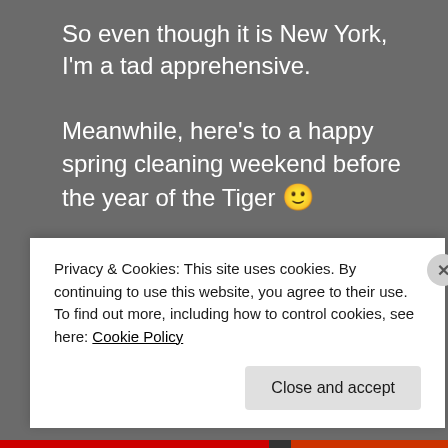So even though it is New York, I'm a tad apprehensive.

Meanwhile, here's to a happy spring cleaning weekend before the year of the Tiger 🙂
Advertisements
[Figure (logo): WordPress logo (white circle W on dark navy background) inside an advertisement box]
Privacy & Cookies: This site uses cookies. By continuing to use this website, you agree to their use.
To find out more, including how to control cookies, see here: Cookie Policy
Close and accept